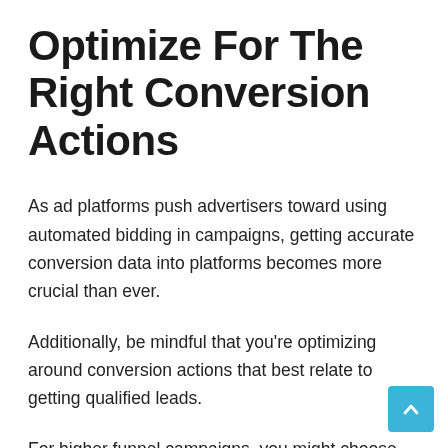Optimize For The Right Conversion Actions
As ad platforms push advertisers toward using automated bidding in campaigns, getting accurate conversion data into platforms becomes more crucial than ever.
Additionally, be mindful that you're optimizing around conversion actions that best relate to getting qualified leads.
For higher funnel campaigns, you might choose conversion actions such as asset downloads or webinar signups to optimize around higher